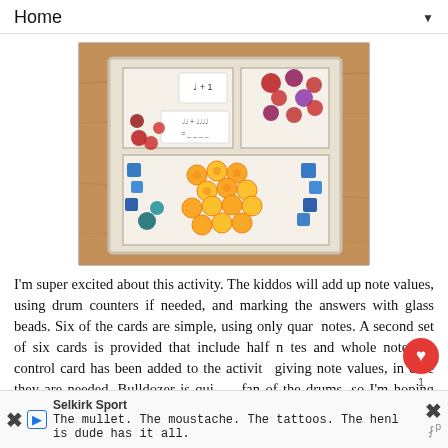Home ▼
[Figure (photo): A wooden tray divided into compartments containing glass beads, colorful gem stones/counters, yellow coins/buttons, and cards with musical note values written on them.]
I'm super excited about this activity. The kiddos will add up note values, using drum counters if needed, and marking the answers with glass beads. Six of the cards are simple, using only quarter notes. A second set of six cards is provided that include half notes and whole notes. A control card has been added to the activity giving note values, in case they are needed. Bulldozer is quite a fan of the drums, so I'm hoping he'll enjoy the activity. He surp... shel... coul...
Selkirk Sport
The mullet. The moustache. The tattoos. The henl
X ▶ is dude has it all.